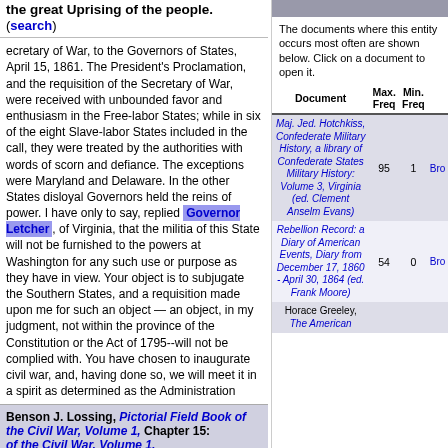the great Uprising of the people. (search)
ecretary of War, to the Governors of States, April 15, 1861. The President's Proclamation, and the requisition of the Secretary of War, were received with unbounded favor and enthusiasm in the Free-labor States; while in six of the eight Slave-labor States included in the call, they were treated by the authorities with words of scorn and defiance. The exceptions were Maryland and Delaware. In the other States disloyal Governors held the reins of power. I have only to say, replied Governor Letcher, of Virginia, that the militia of this State will not be furnished to the powers at Washington for any such use or purpose as they have in view. Your object is to subjugate the Southern States, and a requisition made upon me for such an object — an object, in my judgment, not within the province of the Constitution or the Act of 1795--will not be complied with. You have chosen to inaugurate civil war, and, having done so, we will meet it in a spirit as determined as the Administration
Benson J. Lossing, Pictorial Field Book of the Civil War, Volume 1, Chapter 15:
The documents where this entity occurs most often are shown below. Click on a document to open it.
| Document | Max. Freq | Min. Freq |  |
| --- | --- | --- | --- |
| Maj. Jed. Hotchkiss, Confederate Military History, a library of Confederate States Military History: Volume 3, Virginia (ed. Clement Anselm Evans) | 95 | 1 | Bro |
| Rebellion Record: a Diary of American Events, Diary from December 17, 1860 - April 30, 1864 (ed. Frank Moore) | 54 | 0 | Bro |
| Horace Greeley, The American... |  |  |  |